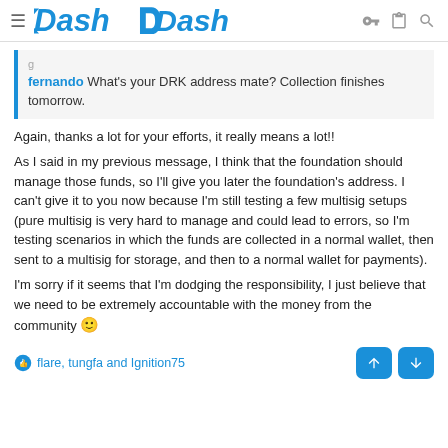Dash
fernando What's your DRK address mate? Collection finishes tomorrow.
Again, thanks a lot for your efforts, it really means a lot!!

As I said in my previous message, I think that the foundation should manage those funds, so I'll give you later the foundation's address. I can't give it to you now because I'm still testing a few multisig setups (pure multisig is very hard to manage and could lead to errors, so I'm testing scenarios in which the funds are collected in a normal wallet, then sent to a multisig for storage, and then to a normal wallet for payments).

I'm sorry if it seems that I'm dodging the responsibility, I just believe that we need to be extremely accountable with the money from the community 🙂
flare, tungfa and Ignition75